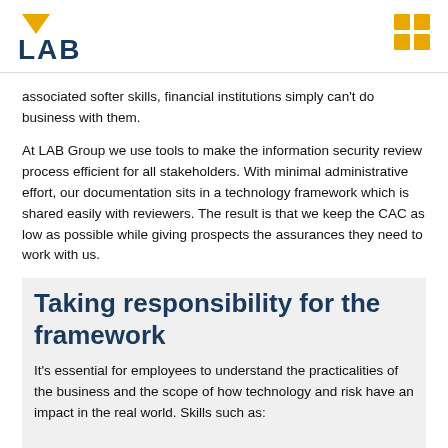LAB
associated softer skills, financial institutions simply can't do business with them.
At LAB Group we use tools to make the information security review process efficient for all stakeholders. With minimal administrative effort, our documentation sits in a technology framework which is shared easily with reviewers. The result is that we keep the CAC as low as possible while giving prospects the assurances they need to work with us.
Taking responsibility for the framework
It's essential for employees to understand the practicalities of the business and the scope of how technology and risk have an impact in the real world. Skills such as:
Lateral thinking